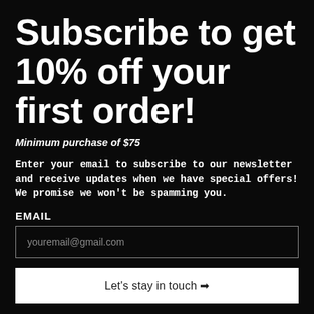Subscribe to get 10% off your first order!
Minimum purchase of $75
Enter your email to subscribe to our newsletter and receive updates when we have special offers! We promise we won't be spamming you.
EMAIL
youremail@gmail.com
Let's stay in touch 🡺